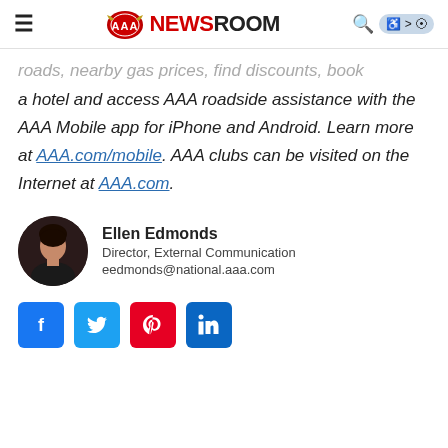AAA NEWSROOM
roads, nearby gas prices, find discounts, book a hotel and access AAA roadside assistance with the AAA Mobile app for iPhone and Android. Learn more at AAA.com/mobile. AAA clubs can be visited on the Internet at AAA.com.
Ellen Edmonds
Director, External Communication
eedmonds@national.aaa.com
[Figure (other): Social media share buttons: Facebook, Twitter, Pinterest, LinkedIn]